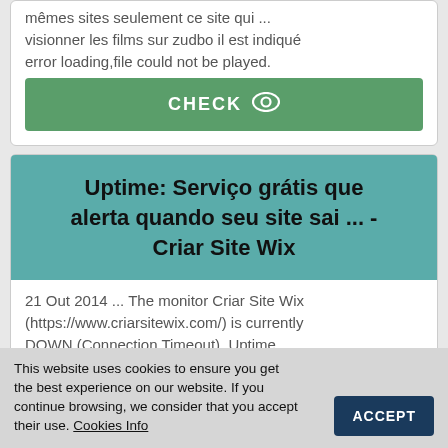mêmes sites seulement ce site qui ... visionner les films sur zudbo il est indiqué error loading,file could not be played.
CHECK
Uptime: Serviço grátis que alerta quando seu site sai ... - Criar Site Wix
21 Out 2014 ... The monitor Criar Site Wix (https://www.criarsitewix.com/) is currently DOWN (Connection Timeout). Uptime
This website uses cookies to ensure you get the best experience on our website. If you continue browsing, we consider that you accept their use. Cookies Info
ACCEPT